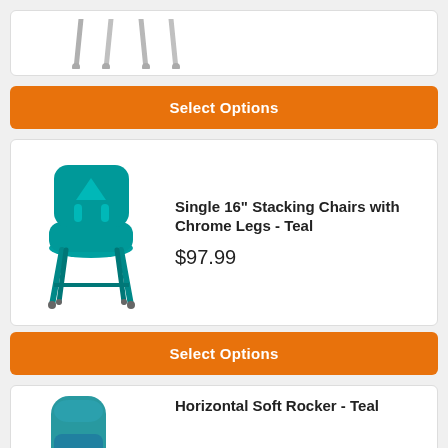[Figure (photo): Partial view of a chair with chrome legs, cropped at top]
Select Options
[Figure (photo): Teal stacking chair with teal metal legs - 16 inch seat height]
Single 16" Stacking Chairs with Chrome Legs - Teal
$97.99
Select Options
[Figure (photo): Teal horizontal soft rocker chair, partially visible]
Horizontal Soft Rocker - Teal